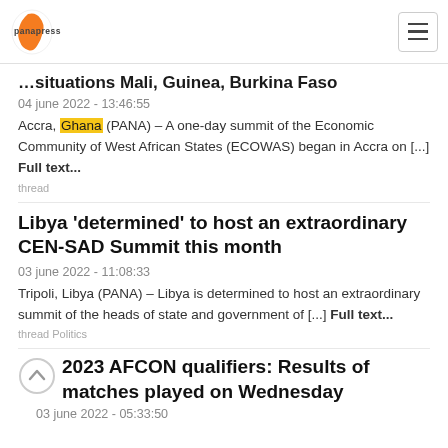panapress [logo and navigation]
…situations Mali, Guinea, Burkina Faso
04 june 2022 - 13:46:55
Accra, Ghana (PANA) – A one-day summit of the Economic Community of West African States (ECOWAS) began in Accra on [...] Full text...
thread
Libya 'determined' to host an extraordinary CEN-SAD Summit this month
03 june 2022 - 11:08:33
Tripoli, Libya (PANA) – Libya is determined to host an extraordinary summit of the heads of state and government of [...] Full text...
thread Politics
2023 AFCON qualifiers: Results of matches played on Wednesday
03 june 2022 - 05:33:50